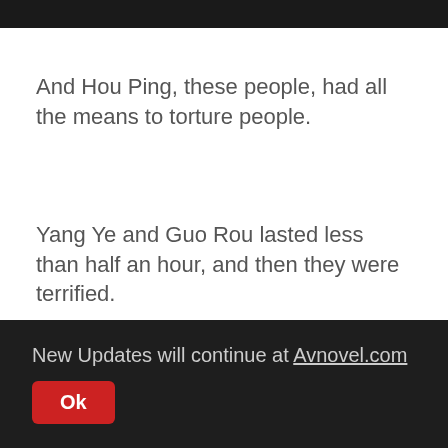We checked our Yan history.
And Hou Ping, these people, had all the means to torture people.
Yang Ye and Guo Rou lasted less than half an hour, and then they were terrified.
Honestly, they gave an honest account of what happened.
New Updates will continue at Avnovel.com
Ok